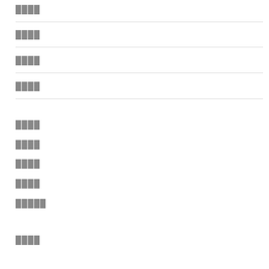████
████
████
████
████
████
████
████
█████
████